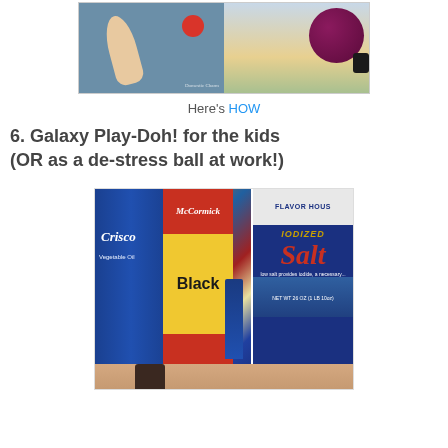[Figure (photo): Two-panel photo: left panel shows a wooden spoon and red circle on blue background with 'Domestic Charm' watermark; right panel shows a dark plum/fruit being held against an outdoor background]
Here's HOW
6. Galaxy Play-Doh! for the kids (OR as a de-stress ball at work!)
[Figure (photo): Two-panel photo: top panel shows grocery ingredients including Crisco vegetable oil, McCormick Black pepper, and Flavor House Iodized Salt canisters; bottom panel shows hands working with dough]